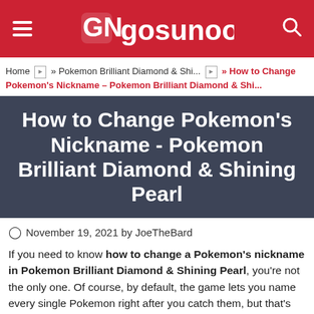gosunoob
Home » Pokemon Brilliant Diamond & Shi... » How to Change Pokemon's Nickname – Pokemon Brilliant Diamond & Shi...
How to Change Pokemon's Nickname - Pokemon Brilliant Diamond & Shining Pearl
November 19, 2021 by JoeTheBard
If you need to know how to change a Pokemon's nickname in Pokemon Brilliant Diamond & Shining Pearl, you're not the only one. Of course, by default, the game lets you name every single Pokemon right after you catch them, but that's extremely annoying. Not every Pokemon deserves a name.